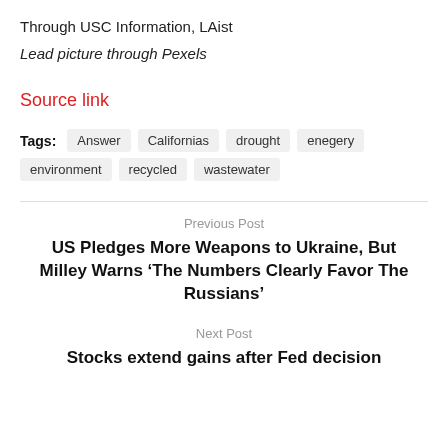Through USC Information, LAist
Lead picture through Pexels
Source link
Tags: Answer  Californias  drought  enegery  environment  recycled  wastewater
Previous Post
US Pledges More Weapons to Ukraine, But Milley Warns ‘The Numbers Clearly Favor The Russians’
Next Post
Stocks extend gains after Fed decision